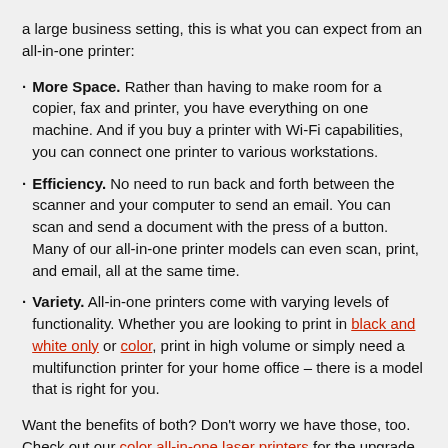a large business setting, this is what you can expect from an all-in-one printer:
More Space. Rather than having to make room for a copier, fax and printer, you have everything on one machine. And if you buy a printer with Wi-Fi capabilities, you can connect one printer to various workstations.
Efficiency. No need to run back and forth between the scanner and your computer to send an email. You can scan and send a document with the press of a button. Many of our all-in-one printer models can even scan, print, and email, all at the same time.
Variety. All-in-one printers come with varying levels of functionality. Whether you are looking to print in black and white only or color, print in high volume or simply need a multifunction printer for your home office – there is a model that is right for you.
Want the benefits of both? Don't worry we have those, too. Check out our color all-in-one laser printers for the upgrade your office needs.